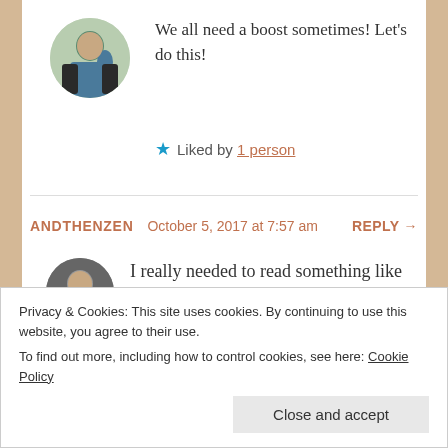We all need a boost sometimes! Let’s do this!
★ Liked by 1 person
ANDTHENZEN  October 5, 2017 at 7:57 am  REPLY →
I really needed to read something like this – I fell out of the rhythm a long time ago, and really need to get back in it! I’m exactly the same in terms of paying for things, paying for a gym
Privacy & Cookies: This site uses cookies. By continuing to use this website, you agree to their use.
To find out more, including how to control cookies, see here: Cookie Policy